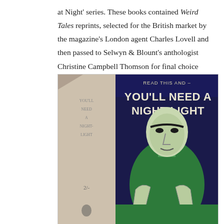at Night' series. These books contained Weird Tales reprints, selected for the British market by the magazine's London agent Charles Lovell and then passed to Selwyn & Blount's anthologist Christine Campbell Thomson for final choice and arrangement.
[Figure (photo): Book cover and spine of 'You'll Need a Night-Light' — a horror anthology. The spine is worn beige showing the title text and price '2/-'. The front cover has a dark navy background with bold white text reading 'READ THIS AND – YOU'LL NEED A NIGHT-LIGHT' above an illustration of a menacing bald green-skinned figure with skeletal hands.]